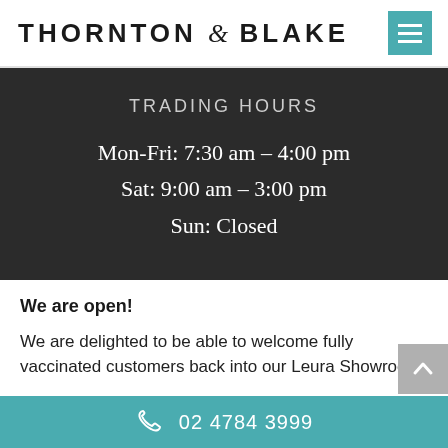THORNTON & BLAKE
TRADING HOURS
Mon-Fri: 7:30 am – 4:00 pm
Sat: 9:00 am – 3:00 pm
Sun: Closed
We are open!
We are delighted to be able to welcome fully vaccinated customers back into our Leura Showroom.
02 4784 3999